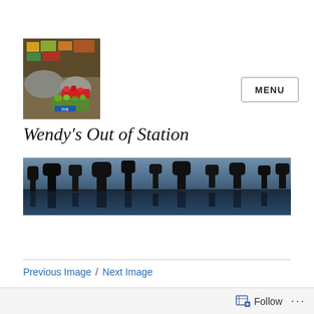[Figure (photo): Small photo of a fruit stall with colorful produce including red and green fruits displayed in crates, with a market background]
MENU
Wendy's Out of Station
[Figure (photo): Wide panoramic landscape photo showing dark tree silhouettes reflected in still water, with a moody blue-grey sky]
Previous Image / Next Image
Follow ...